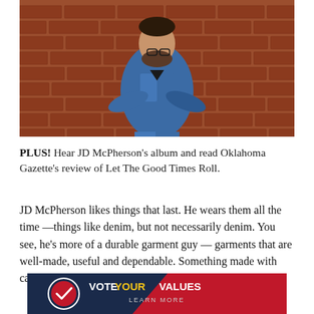[Figure (photo): A man in a denim jacket stands with arms crossed against a red brick wall]
PLUS! Hear JD McPherson's album and read Oklahoma Gazette's review of Let The Good Times Roll.
JD McPherson likes things that last. He wears them all the time —things like denim, but not necessarily denim. You see, he's more of a durable garment guy — garments that are well-made, useful and dependable. Something made with care, made in an ethical manner. Think Martin
[Figure (infographic): Vote Your Values - Learn More banner advertisement with navy blue, red and white colors and a checkmark logo]